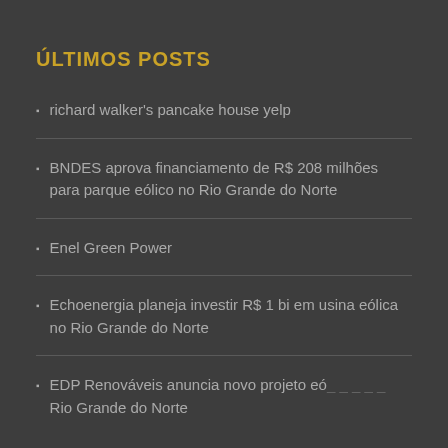ÚLTIMOS POSTS
richard walker's pancake house yelp
BNDES aprova financiamento de R$ 208 milhões para parque eólico no Rio Grande do Norte
Enel Green Power
Echoenergia planeja investir R$ 1 bi em usina eólica no Rio Grande do Norte
EDP Renováveis anuncia novo projeto eó... Rio Grande do Norte